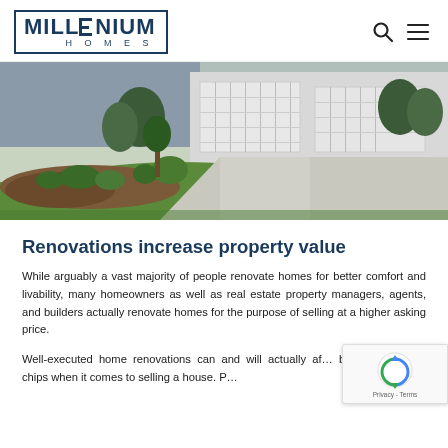MILLENIUM HOMES
[Figure (photo): Exterior view of a residential home with landscaping — green lawn, shrubs, trees, concrete driveway, and garage doors visible.]
Renovations increase property value
While arguably a vast majority of people renovate homes for better comfort and livability, many homeowners as well as real estate property managers, agents, and builders actually renovate homes for the purpose of selling at a higher asking price.
Well-executed home renovations can and will actually af... better bargaining chips when it comes to selling a house. P... actually provide the vendor an advantage of the property.